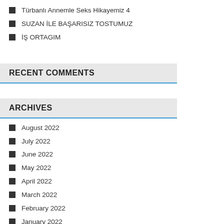Türbanlı Annemle Seks Hikayemiz 4
SUZAN İLE BAŞARISIZ TOSTUMUZ
İŞ ORTAGIM
RECENT COMMENTS
ARCHIVES
August 2022
July 2022
June 2022
May 2022
April 2022
March 2022
February 2022
January 2022